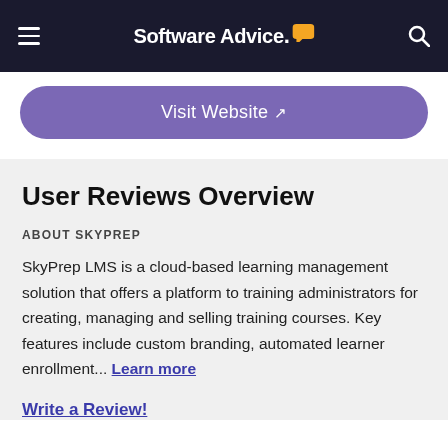Software Advice
Visit Website
User Reviews Overview
ABOUT SKYPREP
SkyPrep LMS is a cloud-based learning management solution that offers a platform to training administrators for creating, managing and selling training courses. Key features include custom branding, automated learner enrollment... Learn more
Write a Review!